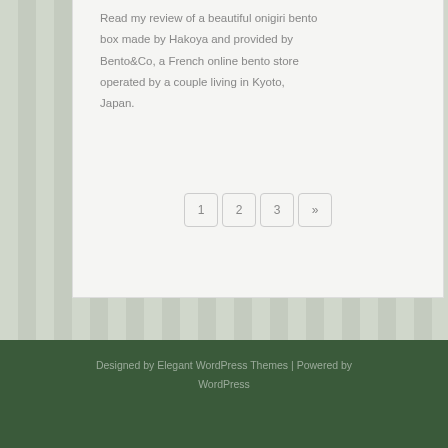Read my review of a beautiful onigiri bento box made by Hakoya and provided by Bento&Co, a French online bento store operated by a couple living in Kyoto, Japan.
1 2 3 »
Designed by Elegant WordPress Themes | Powered by WordPress